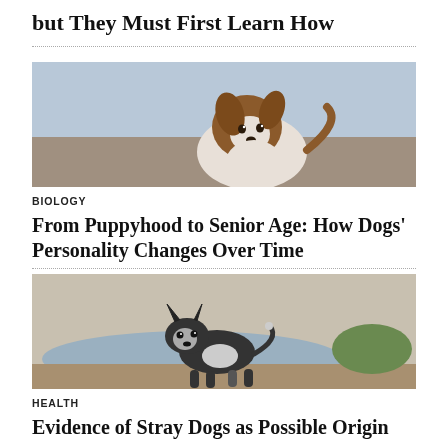but They Must First Learn How
[Figure (photo): A happy brown and white Australian Shepherd dog running outdoors with mouth open, blurred background]
BIOLOGY
From Puppyhood to Senior Age: How Dogs' Personality Changes Over Time
[Figure (photo): A small black and white stray dog sitting on muddy ground near water]
HEALTH
Evidence of Stray Dogs as Possible Origin